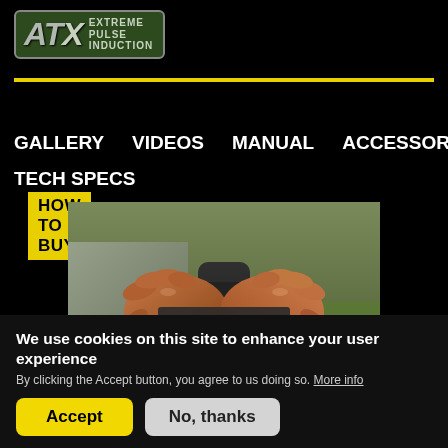[Figure (logo): ATX Extreme Pulse Induction logo on dark green rounded rectangle background]
HOW TO BUY
GALLERY
VIDEOS
MANUAL
ACCESSORIES
TECH SPECS
[Figure (photo): Close-up of muscular hands gripping a pull-up bar or handle outdoors]
We use cookies on this site to enhance your user experience
By clicking the Accept button, you agree to us doing so. More info
Accept
No, thanks